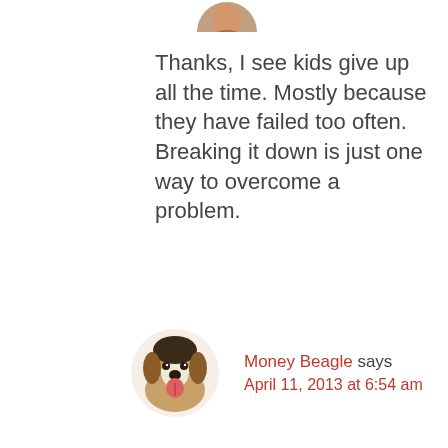[Figure (photo): Partial circular avatar photo of a person, cropped at top of page]
Thanks, I see kids give up all the time. Mostly because they have failed too often. Breaking it down is just one way to overcome a problem.
[Figure (photo): Circular avatar photo of a beagle dog with tongue out]
Money Beagle says April 11, 2013 at 6:54 am